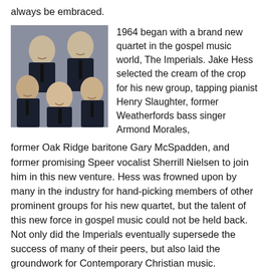always be embraced.
[Figure (photo): Black and white group photo of The Imperials, five men in dark suits]
1964 began with a brand new quartet in the gospel music world, The Imperials. Jake Hess selected the cream of the crop for his new group, tapping pianist Henry Slaughter, former Weatherfords bass singer Armond Morales, former Oak Ridge baritone Gary McSpadden, and former promising Speer vocalist Sherrill Nielsen to join him in this new venture. Hess was frowned upon by many in the industry for hand-picking members of other prominent groups for his new quartet, but the talent of this new force in gospel music could not be held back. Not only did the Imperials eventually supersede the success of many of their peers, but also laid the groundwork for Contemporary Christian music.
Meanwhile, Hovie Lister welcomed a new lead singer aboard the Statesmen...
[Figure (photo): Black and white photo of three men, likely gospel singers]